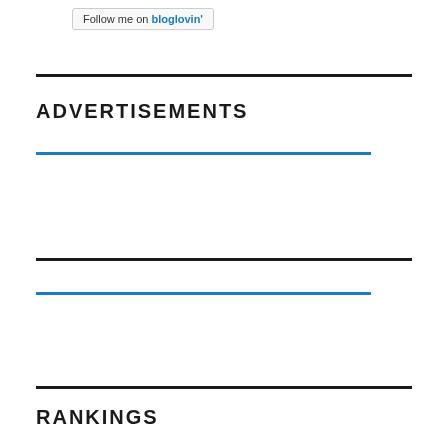[Figure (other): Follow me on bloglovin' button/badge]
ADVERTISEMENTS
[Figure (other): Blue horizontal divider line under ADVERTISEMENTS]
[Figure (other): Black horizontal rule]
[Figure (other): Blue horizontal divider line (second)]
[Figure (other): Black horizontal rule (second)]
RANKINGS
[Figure (other): Page Rank 5 widget badge]